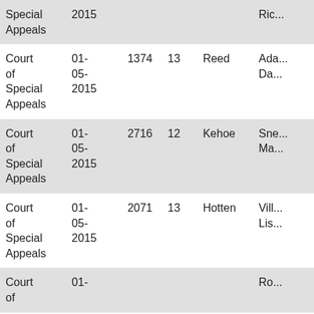| Court | Date | Case No. | Col4 | Judge | Party |
| --- | --- | --- | --- | --- | --- |
| Court of Special Appeals | 2015 |  |  |  | Ric... |
| Court of Special Appeals | 01-05-2015 | 1374 | 13 | Reed | Ada... Da... |
| Court of Special Appeals | 01-05-2015 | 2716 | 12 | Kehoe | Sne... Ma... |
| Court of Special Appeals | 01-05-2015 | 2071 | 13 | Hotten | Vill... Lis... |
| Court of | 01- |  |  |  | Ro... |